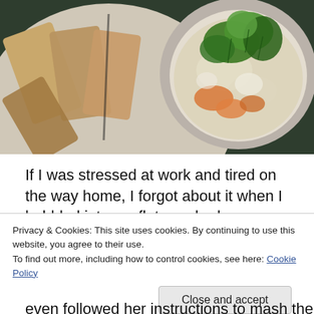[Figure (photo): Photo of a plate with sliced bread and a white bowl of creamy soup garnished with fresh green herbs and orange carrot pieces, on a dark green surface.]
If I was stressed at work and tired on the way home, I forgot about it when I hobbled into my flat, washed my
Privacy & Cookies: This site uses cookies. By continuing to use this website, you agree to their use.
To find out more, including how to control cookies, see here: Cookie Policy
Close and accept
even followed her instructions to mash the vegetables with